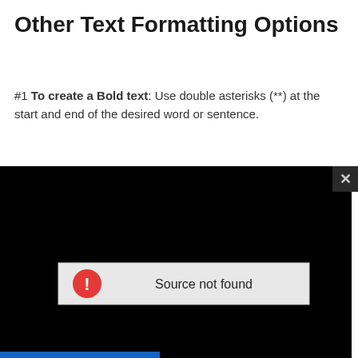Other Text Formatting Options
#1 To create a Bold text: Use double asterisks (**) at the start and end of the desired word or sentence.
[Figure (screenshot): Video player showing a black screen with an error message bar reading 'Source not found' with a red warning icon. A dark close button with an X is visible in the top-right corner. A blue progress bar is partially visible at the bottom.]